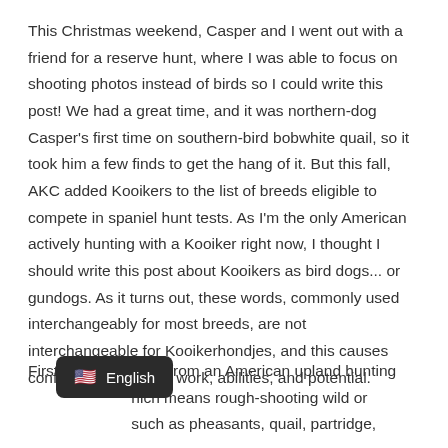This Christmas weekend, Casper and I went out with a friend for a reserve hunt, where I was able to focus on shooting photos instead of birds so I could write this post! We had a great time, and it was northern-dog Casper's first time on southern-bird bobwhite quail, so it took him a few finds to get the hang of it. But this fall, AKC added Kooikers to the list of breeds eligible to compete in spaniel hunt tests. As I'm the only American actively hunting with a Kooiker right now, I thought I should write this post about Kooikers as bird dogs... or gundogs. As it turns out, these words, commonly used interchangeably for most breeds, are not interchangeable for Kooikerhondjes, and this causes confusion about their work, abilities, and potential.
First, I'm writing this from an American upland hunting perspective, which means rough-shooting wild or stocked birds such as pheasants, quail, partridge,
[Figure (other): Language selector widget showing US flag emoji and 'English' label on dark rounded background]